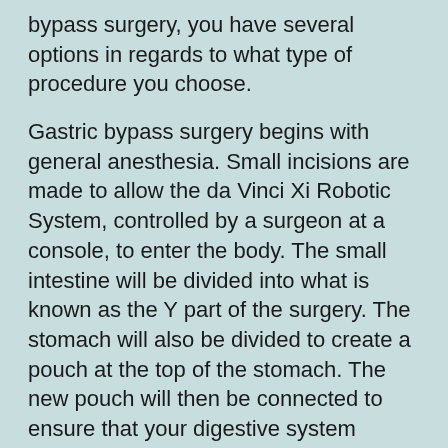bypass surgery, you have several options in regards to what type of procedure you choose.
Gastric bypass surgery begins with general anesthesia. Small incisions are made to allow the da Vinci Xi Robotic System, controlled by a surgeon at a console, to enter the body. The small intestine will be divided into what is known as the Y part of the surgery. The stomach will also be divided to create a pouch at the top of the stomach. The new pouch will then be connected to ensure that your digestive system functions properly.
With a pouch significantly smaller than your stomach now in place, you will have a reduced appetite and will not be able to consume as much food as before the surgery. Your body will also digest less of the food in the pouch, reducing your caloric intake and increasing